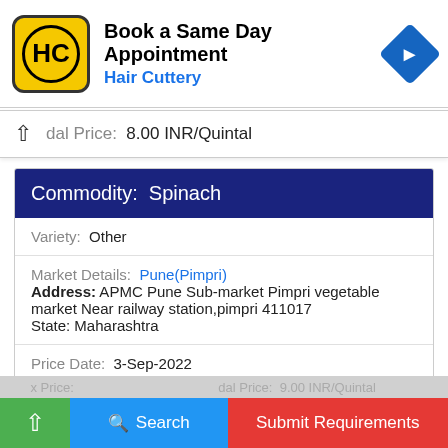[Figure (logo): Hair Cuttery advertisement banner with HC logo, 'Book a Same Day Appointment' title, and blue navigation arrow icon]
dal Price:  8.00 INR/Quintal
| Commodity: | Spinach |
| Variety: | Other |
| Market Details: | Pune(Pimpri) |
| Address: | APMC Pune Sub-market Pimpri vegetable market Near railway station,pimpri 411017 |
| State: | Maharashtra |
| Price Date: | 3-Sep-2022 |
| Min Price: | 8.00 INR/Quintal |
x Price:  Submit Requirements
dal Price:  9.00 INR/Quintal